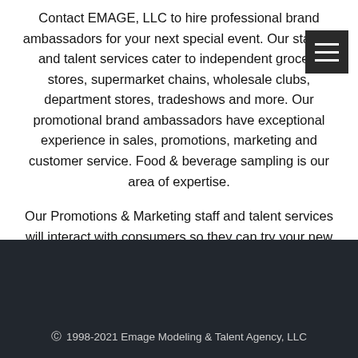Contact EMAGE, LLC to hire professional brand ambassadors for your next special event. Our staffing and talent services cater to independent grocery stores, supermarket chains, wholesale clubs, department stores, tradeshows and more. Our promotional brand ambassadors have exceptional experience in sales, promotions, marketing and customer service. Food & beverage sampling is our area of expertise.
Our Promotions & Marketing staff and talent services will interact with consumers so they can try your new products, engage them in product demonstrations and events participation.
CONTACT US TODAY!  Email: info@emagellc.com   Ph: 412.722.9526
© 1998-2021 Emage Modeling & Talent Agency, LLC